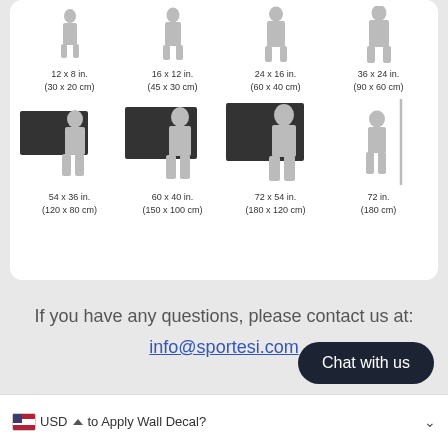[Figure (infographic): Size comparison chart showing silhouette figures next to wall art prints of various sizes: 12x8in (30x20cm), 16x12in (45x30cm), 24x16in (60x40cm), 36x24in (90x60cm), 54x36in (120x80cm), 60x40in (150x100cm), 72x54in (180x120cm), 72in (180cm height pole)]
If you have any questions, please contact us at:
info@sportesi.com
Chat with us
USD  to Apply Wall Decal?